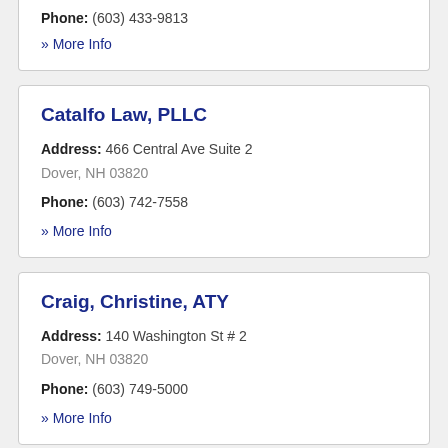Phone: (603) 433-9813
» More Info
Catalfo Law, PLLC
Address: 466 Central Ave Suite 2 Dover, NH 03820
Phone: (603) 742-7558
» More Info
Craig, Christine, ATY
Address: 140 Washington St # 2 Dover, NH 03820
Phone: (603) 749-5000
» More Info